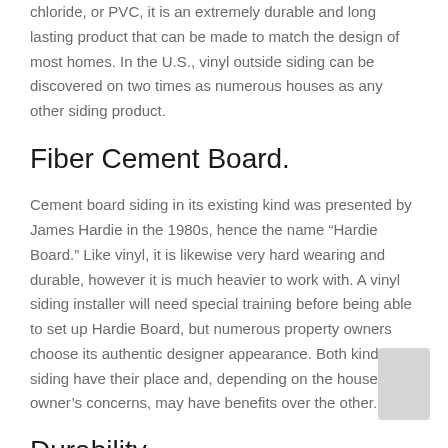chloride, or PVC, it is an extremely durable and long lasting product that can be made to match the design of most homes. In the U.S., vinyl outside siding can be discovered on two times as numerous houses as any other siding product.
Fiber Cement Board.
Cement board siding in its existing kind was presented by James Hardie in the 1980s, hence the name “Hardie Board.” Like vinyl, it is likewise very hard wearing and durable, however it is much heavier to work with. A vinyl siding installer will need special training before being able to set up Hardie Board, but numerous property owners choose its authentic designer appearance. Both kinds of siding have their place and, depending on the house owner’s concerns, may have benefits over the other.
Durability.
Cement board siding has a certain edge in toughness. This